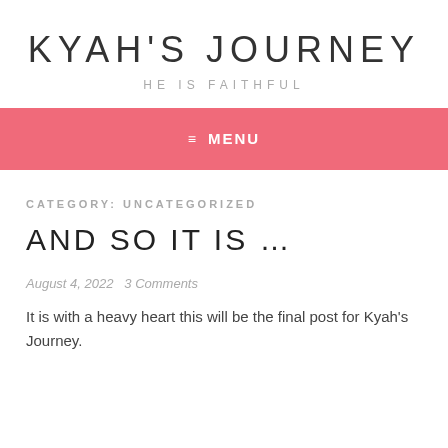KYAH'S JOURNEY
HE IS FAITHFUL
≡  MENU
CATEGORY: UNCATEGORIZED
AND SO IT IS …
August 4, 2022   3 Comments
It is with a heavy heart this will be the final post for Kyah's Journey.